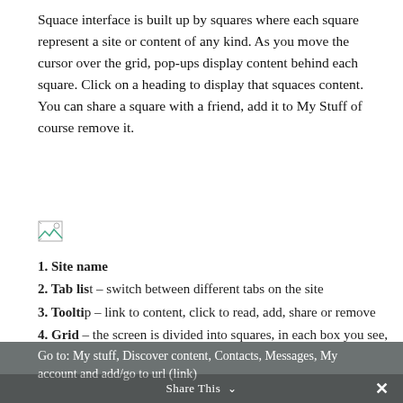Squace interface is built up by squares where each square represent a site or content of any kind. As you move the cursor over the grid, pop-ups display content behind each square. Click on a heading to display that squaces content. You can share a square with a friend, add it to My Stuff of course remove it.
[Figure (illustration): Broken/placeholder image icon (small)]
1. Site name
2. Tab list – switch between different tabs on the site
3. Tooltip – link to content, click to read, add, share or remove
4. Grid – the screen is divided into squares, in each box you see, you will find a content
5. Bottom bar with; Menu, Application and Back
[Figure (illustration): Broken/placeholder image icon (small)]
6. Menu
Go to: My stuff, Discover content, Contacts, Messages, My account and add/go to url (link)
Share This